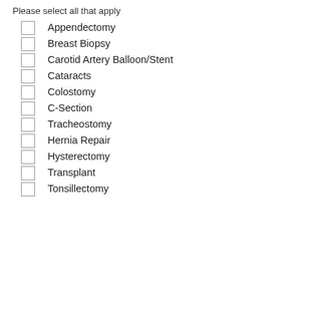Please select all that apply
Appendectomy
Breast Biopsy
Carotid Artery Balloon/Stent
Cataracts
Colostomy
C-Section
Tracheostomy
Hernia Repair
Hysterectomy
Transplant
Tonsillectomy